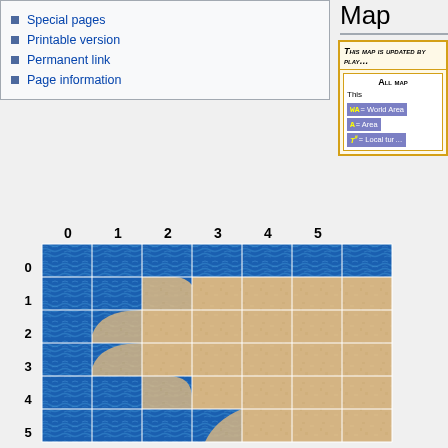Special pages
Printable version
Permanent link
Page information
Map
This map is updated by play...
All map... This...
WA = World Area   A = Area   T# = Local tur...
[Figure (map): Grid map showing ocean (blue textured) and land (sandy/tan) tiles in a grid with row numbers 0-5 on left and column numbers 0-5 on top. Land forms an irregular shape in the right/center portion of the grid.]